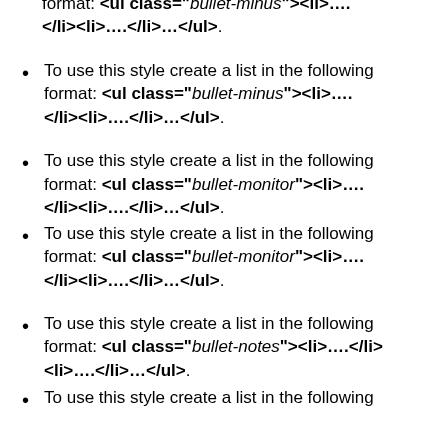format: <ul class="bullet-minus"><li>….</li><li>…</li>…</ul>.
To use this style create a list in the following format: <ul class="bullet-minus"><li>….</li><li>…</li>…</ul>.
To use this style create a list in the following format: <ul class="bullet-monitor"><li>….</li><li>…</li>…</ul>.
To use this style create a list in the following format: <ul class="bullet-monitor"><li>….</li><li>…</li>…</ul>.
To use this style create a list in the following format: <ul class="bullet-notes"><li>….</li><li>…</li>…</ul>.
To use this style create a list in the following